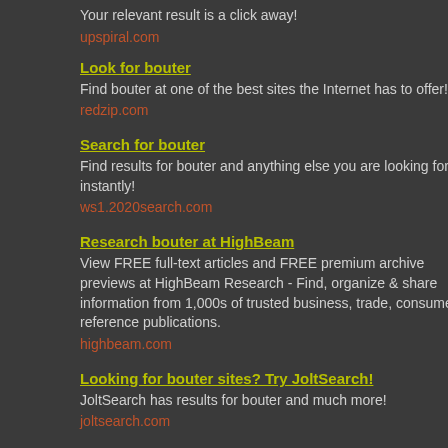Your relevant result is a click away!
upspiral.com
Look for bouter
Find bouter at one of the best sites the Internet has to offer!
redzip.com
Search for bouter
Find results for bouter and anything else you are looking for instantly!
ws1.2020search.com
Research bouter at HighBeam
View FREE full-text articles and FREE premium archive previews at HighBeam Research - Find, organize & share information from 1,000s of trusted business, trade, consumer & reference publications.
highbeam.com
Looking for bouter sites? Try JoltSearch!
JoltSearch has results for bouter and much more!
joltsearch.com
bouter